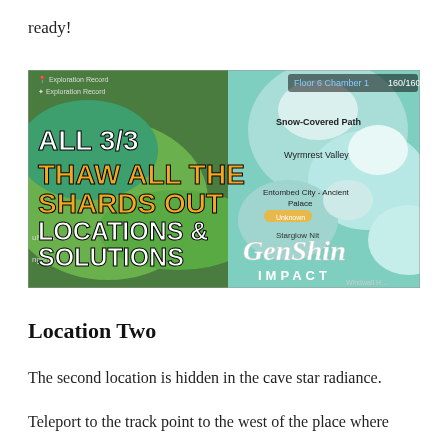ready!
[Figure (screenshot): Genshin Impact game guide thumbnail showing a map background with text overlay: 'ALL 3/3 THAW ALL THE SHARDS OUT LOCATIONS & SOLUTIONS' with the Genshin Impact logo. The map shows snowy terrain with labels like Snow-Covered Path, Wyrmrest Valley, Entombed City - Ancient Palace.]
Location Two
The second location is hidden in the cave star radiance.
Teleport to the track point to the west of the place where